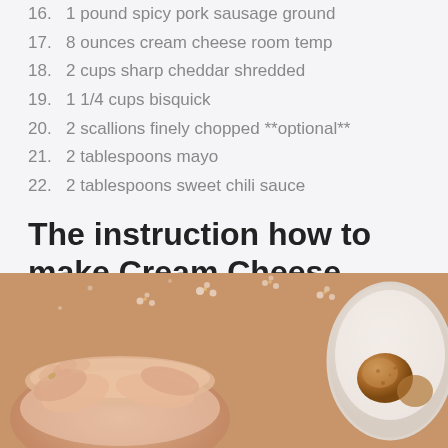16. 1 pound spicy pork sausage ground
17. 8 ounces cream cheese room temp
18. 2 cups sharp cheddar shredded
19. 1 1/4 cups bisquick
20. 2 scallions finely chopped **optional**
21. 2 tablespoons mayo
22. 2 tablespoons sweet chili sauce
The instruction how to make Cream Cheese Sausage Balls & Sweet Chili Mayo
[Figure (photo): Photo of cream cheese sausage balls being prepared, showing hands and a bowl on a floral tablecloth, with a plate of sausage balls on the right side.]